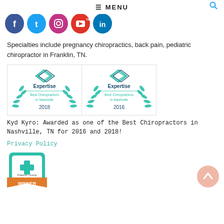≡ MENU
[Figure (illustration): Social media icons: Facebook (dark blue), Twitter (light blue), Instagram (purple-pink), YouTube (red), LinkedIn (blue), shown as rounded-bottom circles with white icons]
Specialties include pregnancy chiropractics, back pain, pediatric chiropractor in Franklin, TN.
[Figure (illustration): Two Expertise award badges side by side: Best Chiropractors in Nashville 2018 and 2016, with teal/green laurel wreath and diamond logo]
Kyd Kyro: Awarded as one of the Best Chiropractors in Nashville, TN for 2016 and 2018!
Privacy Policy
[Figure (illustration): Patients Choice Winner badge with orange ribbon banner at bottom, teal/green square frame with medical cross icon]